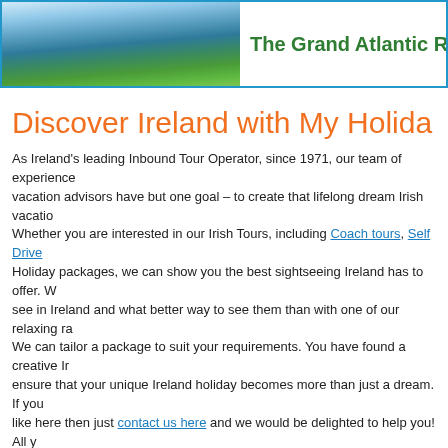The Grand Atlantic Rai...
Discover Ireland with My Holida...
As Ireland's leading Inbound Tour Operator, since 1971, our team of experienced vacation advisors have but one goal – to create that lifelong dream Irish vacation. Whether you are interested in our Irish Tours, including Coach tours, Self Drive Holiday packages, we can show you the best sightseeing Ireland has to offer. We see in Ireland and what better way to see them than with one of our relaxing ra... We can tailor a package to suit your requirements. You have found a creative Ir... ensure that your unique Ireland holiday becomes more than just a dream. If you like here then just contact us here and we would be delighted to help you! All ... the rest! 🙂
Why people choose My Holiday Ireland
My Holiday Ireland are fully licensed and bonded
We have been selling Ireland for the last 45 years!!